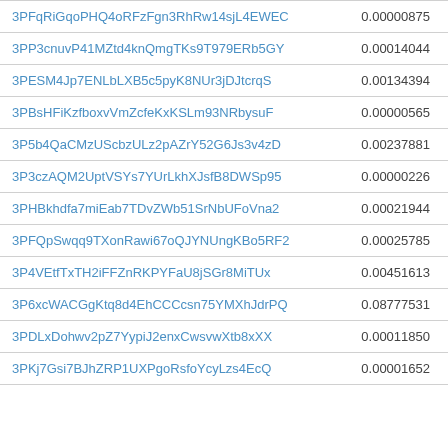| Address | Value |
| --- | --- |
| 3PFqRiGqoPHQ4oRFzFgn3RhRw14sjL4EWEC | 0.00000875 |
| 3PP3cnuvP41MZtd4knQmgTKs9T979ERb5GY | 0.00014044 |
| 3PESM4Jp7ENLbLXB5c5pyK8NUr3jDJtcrqS | 0.00134394 |
| 3PBsHFiKzfboxvVmZcfeKxKSLm93NRbysuF | 0.00000565 |
| 3P5b4QaCMzUScbzULz2pAZrY52G6Js3v4zD | 0.00237881 |
| 3P3czAQM2UptVSYs7YUrLkhXJsfB8DWSp95 | 0.00000226 |
| 3PHBkhdfa7miEab7TDvZWb51SrNbUFoVna2 | 0.00021944 |
| 3PFQpSwqq9TXonRawi67oQJYNUngKBo5RF2 | 0.00025785 |
| 3P4VEtfTxTH2iFFZnRKPYFaU8jSGr8MiTUx | 0.00451613 |
| 3P6xcWACGgKtq8d4EhCCCcsn75YMXhJdrPQ | 0.08777531 |
| 3PDLxDohwv2pZ7YypiJ2enxCwsvwXtb8xXX | 0.00011850 |
| 3PKj7Gsi7BJhZRP1UXPgoRsfoYcyLzs4EcQ | 0.00001652 |